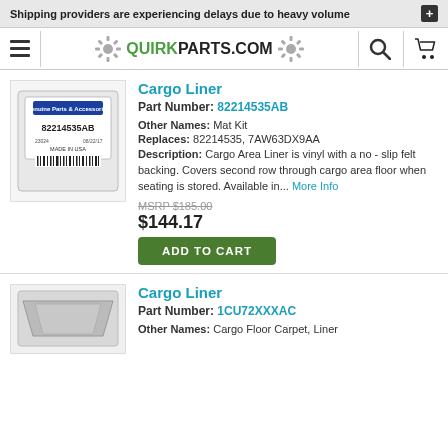Shipping providers are experiencing delays due to heavy volume
[Figure (logo): QuirkParts.com logo with gear icons, hamburger menu, search icon, and cart icon navigation bar]
Cargo Liner
Part Number: 82214535AB
Other Names: Mat Kit
Replaces: 82214535, 7AW63DX9AA
Description: Cargo Area Liner is vinyl with a no - slip felt backing. Covers second row through cargo area floor when seating is stored. Available in... More Info
MSRP $185.00
$144.17
ADD TO CART
Cargo Liner
Part Number: 1CU72XXXAC
Other Names: Cargo Floor Carpet, Liner